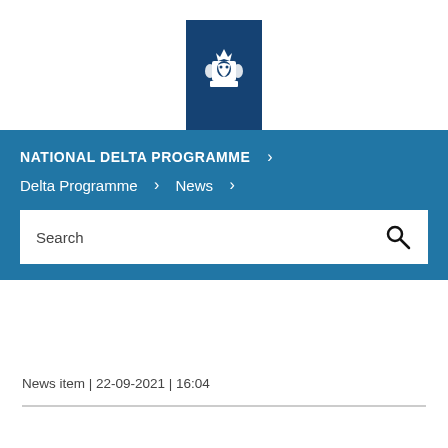[Figure (logo): Dutch government coat of arms logo on dark blue background block]
NATIONAL DELTA PROGRAMME >
Delta Programme > News >
Search
News item | 22-09-2021 | 16:04